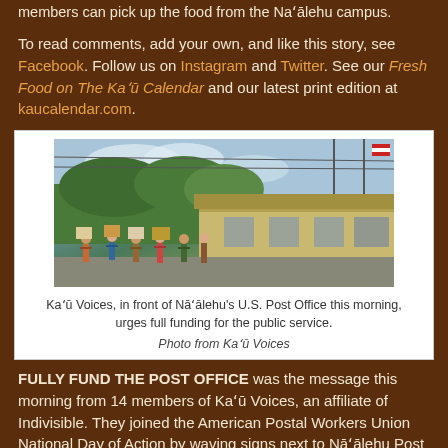members can pick up the food from the Naʻālehu campus.
To read comments, add your own, and like this story, see Facebook. Follow us on Instagram and Twitter. See our Fresh Food on The Kaʻū Calendar and our latest print edition at kaucalendar.com.
[Figure (photo): Group of people holding protest signs in front of Nāʻālehu U.S. Post Office building, with trees and power lines in background.]
Kaʻū Voices, in front of Nāʻālehu's U.S. Post Office this morning, urges full funding for the public service.
Photo from Kaʻū Voices
FULLY FUND THE POST OFFICE was the message this morning from 14 members of Kaʻū Voices, an affiliate of Indivisible. They joined the American Postal Workers Union National Day of Action by waving signs next to Nāʻālehu Post Office. Their signs urge the U.S. Senate to pass the